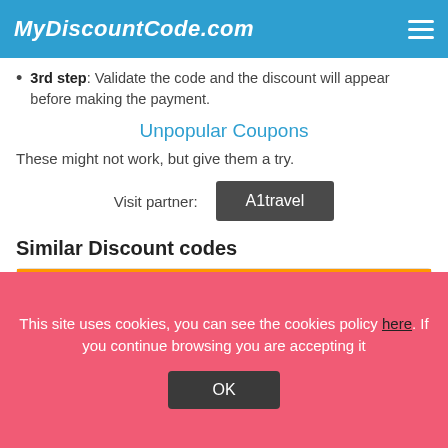MyDiscountCode.com
3rd step: Validate the code and the discount will appear before making the payment.
Unpopular Coupons
These might not work, but give them a try.
Visit partner: A1travel
Similar Discount codes
This site uses cookies, you can see the cookies policy here. If you continue browsing you are accepting it